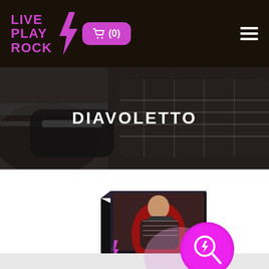LIVE PLAY ROCK — navigation bar with cart (0) and hamburger menu
[Figure (screenshot): Hero banner with dark guitar background image and bold white text 'DIAVOLETTO']
DIAVOLETTO
[Figure (photo): Product box for LivePlayRock Diavoletto course showing guitarist in red shirt playing black guitar, with purple lightning bolt logo and flowchart-style interface diagrams at the bottom. A magnifier icon with purple lightning bolt overlays the bottom-right corner, and a light purple glow circle is visible.]